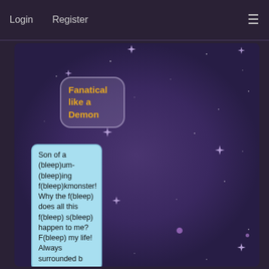Login   Register
[Figure (illustration): Purple starry night sky background with sparkle/star effects scattered across the image, serving as the background for a visual novel or story interface.]
Fanatical like a Demon
Son of a (bleep)um-(bleep)ing f(bleep)kmonster! Why the f(bleep) does all this f(bleep) s(bleep) happen to me? F(bleep) my life! Always surrounded b...